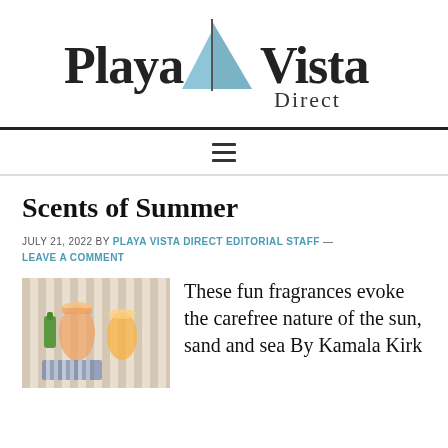[Figure (logo): Playa Vista Direct logo — stylized sailboat in blue-gray with bold serif text 'PlayaVista' and 'Direct' underneath]
[Figure (other): Hamburger menu icon (three horizontal lines)]
Scents of Summer
JULY 21, 2022 BY PLAYA VISTA DIRECT EDITORIAL STAFF — LEAVE A COMMENT
[Figure (photo): Summer drinks and snacks on a striped tablecloth]
These fun fragrances evoke the carefree nature of the sun, sand and sea By Kamala Kirk